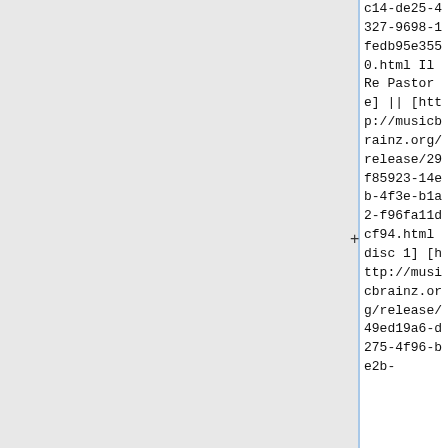c14-de25-4327-9698-1fedb95e3550.html Il Re Pastore] || [http://musicbrainz.org/release/29f85923-14eb-4f3e-b1a2-f96fa11dcf94.html disc 1] [http://musicbrainz.org/release/49ed19a6-d275-4f96-be2b-d004b1ad3b5...